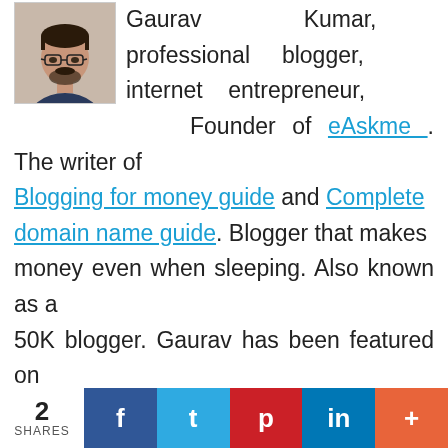[Figure (photo): A profile photo of a man wearing glasses and a dark shirt, Gaurav Kumar]
Gaurav Kumar, professional blogger, internet entrepreneur, Founder of eAskme. The writer of Blogging for money guide and Complete domain name guide. Blogger that makes money even when sleeping. Also known as a 50K blogger. Gaurav has been featured on more than 150 blogs and publications. Teaching people all over the world the real way to make money online and earning 50k every month. Contact Him Here Facebook |
2 SHARES | Facebook | Twitter | Pinterest | LinkedIn | More